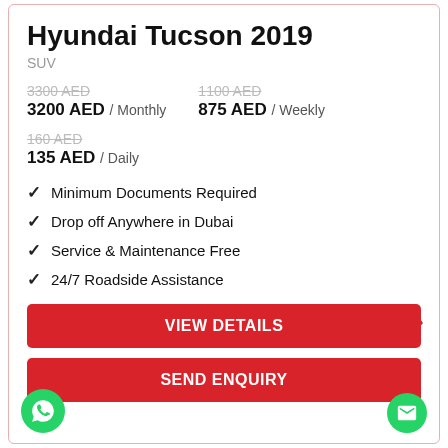Hyundai Tucson 2019
SUV
3300 AED (strikethrough)  1100 AED (strikethrough)
3200 AED / Monthly   875 AED / Weekly
160 AED (strikethrough)
135 AED / Daily
Minimum Documents Required
Drop off Anywhere in Dubai
Service & Maintenance Free
24/7 Roadside Assistance
VIEW DETAILS
SEND ENQUIRY